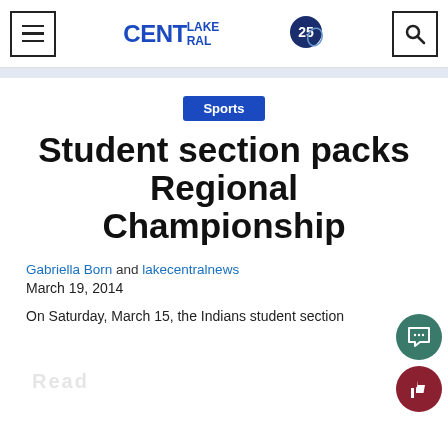CENT LAKE RAL [logo] [menu icon] [search icon]
Sports
Student section packs Regional Championship
Gabriella Born and lakecentralnews
March 19, 2014
On Saturday, March 15, the Indians student section